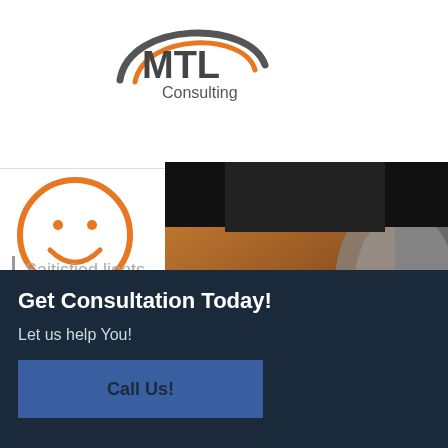[Figure (logo): MTL Consulting logo with orange and gray arc swoosh above the letters MTL and the word Consulting below]
[Figure (illustration): Orange smiley face icon (circle with two dot eyes and a smile arc)]
Saitisfie...lien...
[Figure (photo): Close-up photo of a Dell laptop (brown/copper lid) with headphones partially visible on the right, dark background]
Get Consultation Today!
Let us help You!
Call Us!